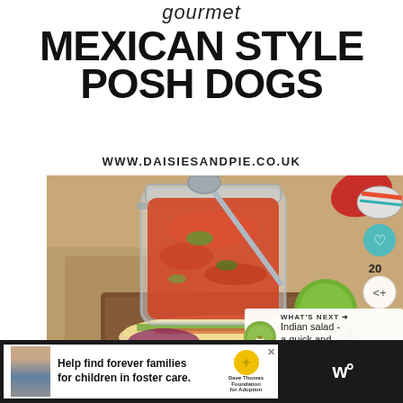gourmet
MEXICAN STYLE POSH DOGS
WWW.DAISIESANDPIE.CO.UK
[Figure (photo): A glass jar filled with red tomato salsa with a spoon, surrounded by lime, red chili peppers, and Mexican style posh dogs with toppings on a wooden board. UI overlays include a heart button, share count of 20, share button, and a 'What's Next' panel showing Indian salad.]
WHAT'S NEXT → Indian salad - a quick and...
Help find forever families for children in foster care.